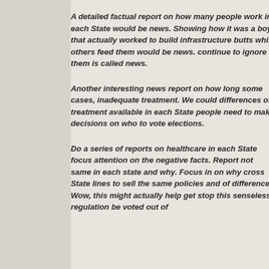A detailed factual report on how many people work in each State would be news. Showing how it was a boy, that actually worked to build infrastructure butts while others feed them would be news. continue to ignore them is called news.
Another interesting news report on how long some cases, inadequate treatment. We could differences of treatment available in each State people need to make decisions on who to vote elections.
Do a series of reports on healthcare in each State focus attention on the negative facts. Report same in each state and why. Focus in on why cross State lines to sell the same policies and of difference. Wow, this might actually help stop this senseless regulation be voted out of